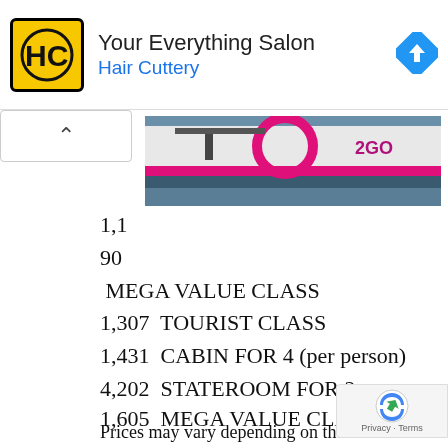[Figure (logo): Hair Cuttery HC logo and ad banner with navigation diamond icon]
[Figure (photo): Side of a ship with 2GO branding, pink/magenta stripe, floating on water]
1,1
90
MEGA VALUE CLASS
1,307  TOURIST CLASS
1,431  CABIN FOR 4 (per person)
4,202  STATEROOM FOR 2
Prices may vary depending on the exact date. for example, on another day:
1,605  MEGA VALUE CLASS
1,821  TOURIST CLASS